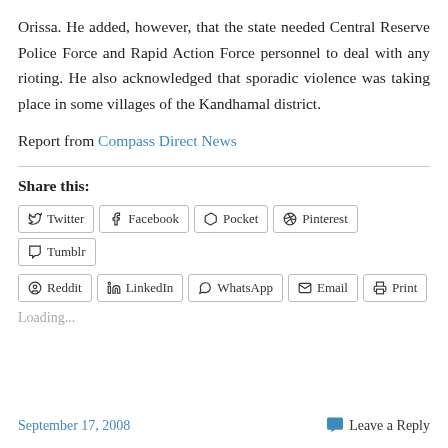Orissa. He added, however, that the state needed Central Reserve Police Force and Rapid Action Force personnel to deal with any rioting. He also acknowledged that sporadic violence was taking place in some villages of the Kandhamal district.
Report from Compass Direct News
Share this:
Loading...
September 17, 2008    Leave a Reply